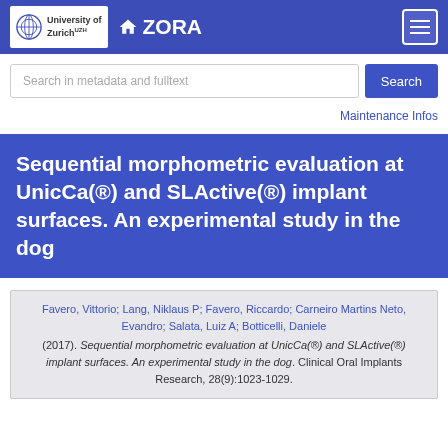University of Zurich | ZORA
Sequential morphometric evaluation at UnicCa(®) and SLActive(®) implant surfaces. An experimental study in the dog
Favero, Vittorio; Lang, Niklaus P; Favero, Riccardo; Carneiro Martins Neto, Evandro; Salata, Luiz A; Botticelli, Daniele (2017). Sequential morphometric evaluation at UnicCa(®) and SLActive(®) implant surfaces. An experimental study in the dog. Clinical Oral Implants Research, 28(9):1023-1029.